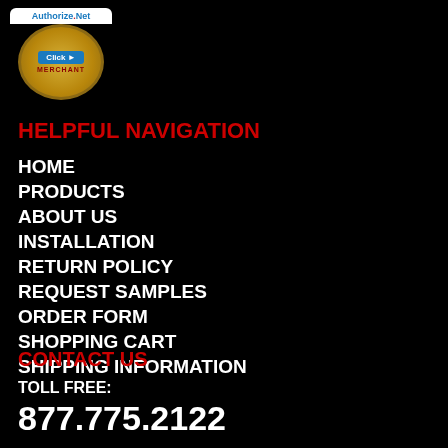[Figure (logo): Authorize.Net Click Merchant badge/logo with gold circle and blue banner]
HELPFUL NAVIGATION
HOME
PRODUCTS
ABOUT US
INSTALLATION
RETURN POLICY
REQUEST SAMPLES
ORDER FORM
SHOPPING CART
SHIPPING INFORMATION
CONTACT US
TOLL FREE:
877.775.2122